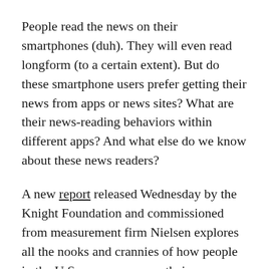People read the news on their smartphones (duh). They will even read longform (to a certain extent). But do these smartphone users prefer getting their news from apps or news sites? What are their news-reading behaviors within different apps? And what else do we know about these news readers?
A new report released Wednesday by the Knight Foundation and commissioned from measurement firm Nielsen explores all the nooks and crannies of how people in the U.S. access news on their smartphones (disclosure: Knight also supports Nieman Lab).
A portion of the findings from this Knight-Nielsen report are based on data from 9,000